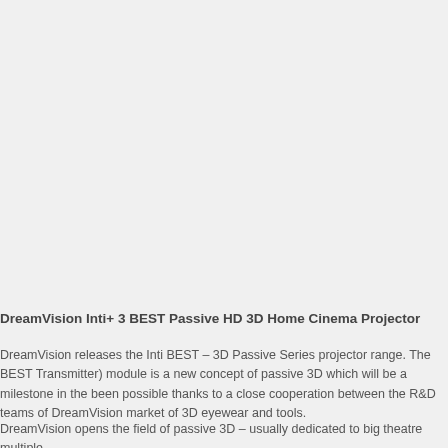DreamVision Inti+ 3 BEST Passive HD 3D Home Cinema Projector
DreamVision releases the Inti BEST – 3D Passive Series projector range. The BEST Transmitter) module is a new concept of passive 3D which will be a milestone in the been possible thanks to a close cooperation between the R&D teams of DreamVision market of 3D eyewear and tools.
DreamVision opens the field of passive 3D – usually dedicated to big theatre multiple